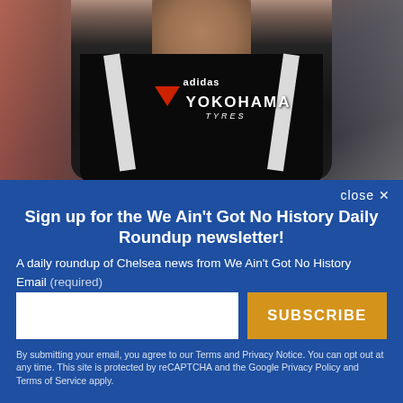[Figure (photo): A footballer wearing a Chelsea black away kit with YOKOHAMA TYRES sponsor, white adidas stripes on shoulders, running on a football pitch. Blurred crowd background.]
close ✕
Sign up for the We Ain't Got No History Daily Roundup newsletter!
A daily roundup of Chelsea news from We Ain't Got No History
Email (required)
SUBSCRIBE
By submitting your email, you agree to our Terms and Privacy Notice. You can opt out at any time. This site is protected by reCAPTCHA and the Google Privacy Policy and Terms of Service apply.